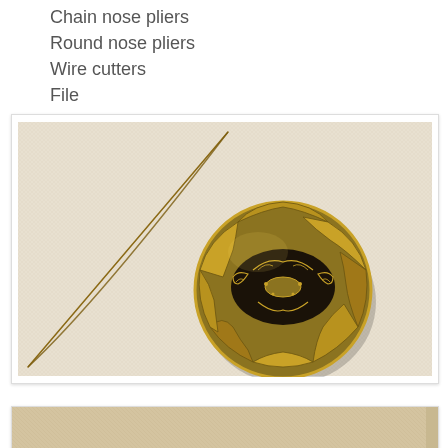Chain nose pliers
Round nose pliers
Wire cutters
File
Ball-peen hammer
[Figure (photo): A decorative antique brass/gold button with swirling filigree pattern and an elongated oval cutout in the center, placed on a white fabric background alongside a thin copper/brass wire that curves from the bottom-left corner diagonally upward.]
[Figure (photo): Partial view of another photo at the bottom of the page, cropped off.]